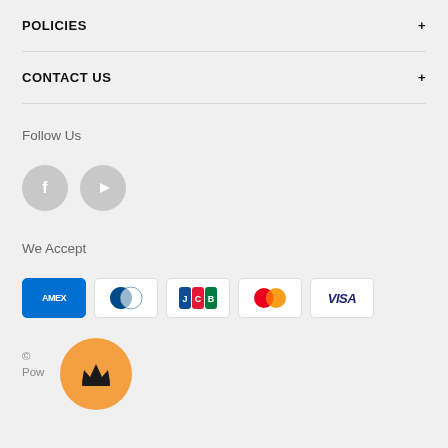POLICIES
CONTACT US
Follow Us
[Figure (illustration): Facebook and YouTube social media icon circles in gray]
We Accept
[Figure (illustration): Payment method logos: AMEX, Diners Club, JCB, Mastercard, Visa]
© ...unter.ie
Pow...Shopify